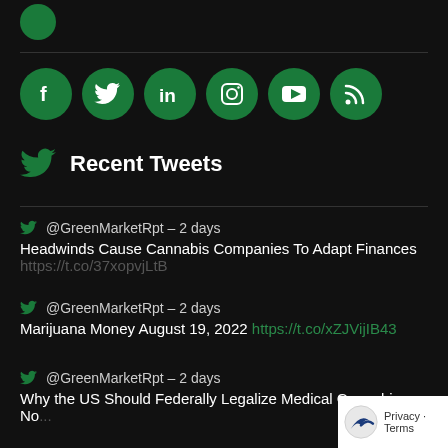[Figure (other): Social media icons: Facebook, Twitter, LinkedIn, Instagram, YouTube, RSS — green circular buttons]
Recent Tweets
@GreenMarketRpt – 2 days
Headwinds Cause Cannabis Companies To Adapt Finances
https://t.co/37xopvjLtB
@GreenMarketRpt – 2 days
Marijuana Money August 19, 2022 https://t.co/xZJVijIB43
@GreenMarketRpt – 2 days
Why the US Should Federally Legalize Medical Cannabis No...